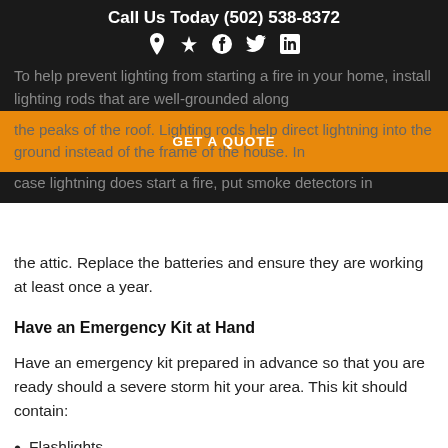Call Us Today (502) 538-8372
[Figure (other): Social media icons row: location pin, Yelp, Facebook, Twitter, LinkedIn]
To help prevent lighting from starting a fire in your home, install lighting rods that are well-grounded along the peaks of the roof. Lighting rods help direct lightning into the ground instead of the frame of the house. In case lightning does start a fire, put smoke detectors in the attic. Replace the batteries and ensure they are working at least once a year.
GET A QUOTE
Have an Emergency Kit at Hand
Have an emergency kit prepared in advance so that you are ready should a severe storm hit your area. This kit should contain:
Flashlights